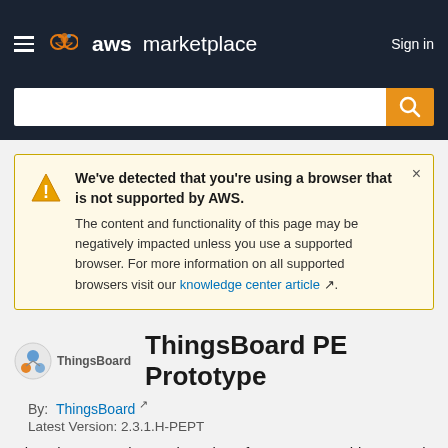aws marketplace  Sign in
We've detected that you're using a browser that is not supported by AWS. The content and functionality of this page may be negatively impacted unless you use a supported browser. For more information on all supported browsers visit our knowledge center article.
ThingsBoard PE Prototype
By: ThingsBoard
Latest Version: 2.3.1.H-PEPT
Closed-source advanced version of open-source ThingsBoard IoT platform with limitation to 100 devices and 100 assets and
Show more